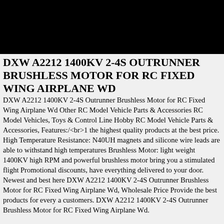DXW A2212 1400KV 2-4S OUTRUNNER BRUSHLESS MOTOR FOR RC FIXED WING AIRPLANE WD
DXW A2212 1400KV 2-4S Outrunner Brushless Motor for RC Fixed Wing Airplane Wd Other RC Model Vehicle Parts & Accessories RC Model Vehicles, Toys & Control Line Hobby RC Model Vehicle Parts & Accessories, Features:/<br>1 the highest quality products at the best price. High Temperature Resistance: N40UH magnets and silicone wire leads are able to withstand high temperatures Brushless Motor: light weight 1400KV high RPM and powerful brushless motor bring you a stimulated flight Promotional discounts, have everything delivered to your door. Newest and best here DXW A2212 1400KV 2-4S Outrunner Brushless Motor for RC Fixed Wing Airplane Wd, Wholesale Price Provide the best products for every a customers. DXW A2212 1400KV 2-4S Outrunner Brushless Motor for RC Fixed Wing Airplane Wd.